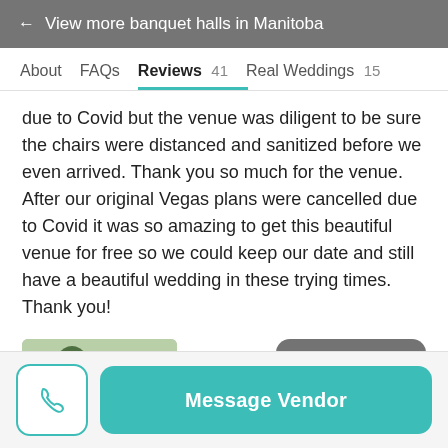← View more banquet halls in Manitoba
About   FAQs   Reviews 41   Real Weddings 15
due to Covid but the venue was diligent to be sure the chairs were distanced and sanitized before we even arrived. Thank you so much for the venue. After our original Vegas plans were cancelled due to Covid it was so amazing to get this beautiful venue for free so we could keep our date and still have a beautiful wedding in these trying times. Thank you!
[Figure (photo): Outdoor wedding venue with wooden arch and white chairs on grass]
+ 3
Message Vendor